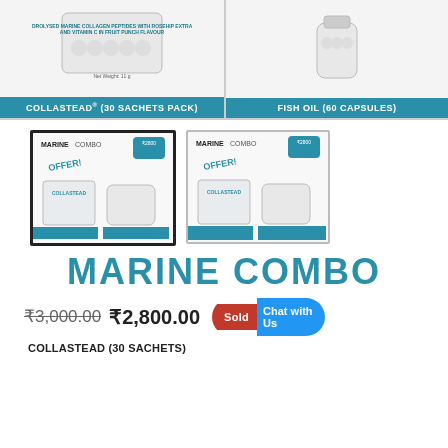[Figure (photo): Top banner showing two products: COLLASTEAD (30 SACHETS PACK) on the left with sachet image, and FISH OIL (60 CAPSULES) on the right with bottle image, both on teal background labels]
[Figure (photo): Marine Combo product thumbnail - selected, showing black border, with COLLASTEAD and FISH OIL products, MARINE COMBO branding, ₹2800 price, OFFER text]
[Figure (photo): Marine Combo product thumbnail - unselected, same as above]
MARINE COMBO
₹3,000.00  ₹2,800.00  Sold Out  Chat with Us
COLLASTEAD (30 SACHETS)